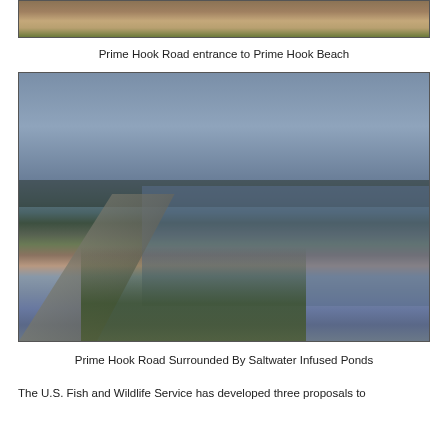[Figure (photo): Cropped bottom portion of a photo showing Prime Hook Road entrance to Prime Hook Beach — dirt/gravel road with tan and brown tones, sparse vegetation]
Prime Hook Road entrance to Prime Hook Beach
[Figure (photo): Photo of Prime Hook Road surrounded by saltwater infused ponds at dusk/twilight — a narrow road runs diagonally left, flanked by grassy embankment and flooding water on both sides, tree line visible at horizon under blue-grey sky]
Prime Hook Road Surrounded By Saltwater Infused Ponds
The U.S. Fish and Wildlife Service has developed three proposals to